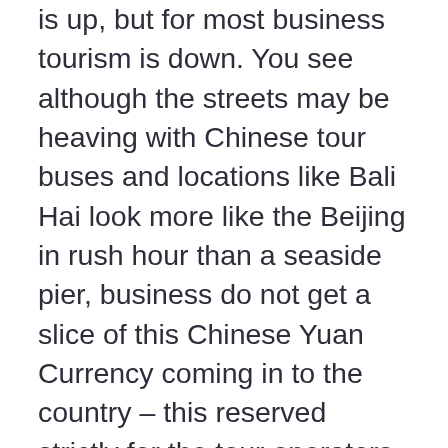is up, but for most business tourism is down. You see although the streets may be heaving with Chinese tour buses and locations like Bali Hai look more like the Beijing in rush hour than a seaside pier, business do not get a slice of this Chinese Yuan Currency coming in to the country – this reserved strictly for the tour operators and their cliché.
Traditional leisure operations designed originally for the Western single male tourist are feeling the pinch – but isn't the truth that they have been feeling this pinch year on year ever since the pound crashed against the baht in 2008 – with the Brits losing almost 30% on